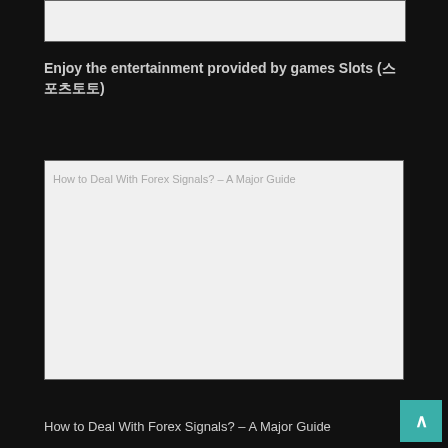[Figure (other): Partial top image box, cropped at top of page]
Enjoy the entertainment provided by games Slots (스포츠토토)
[Figure (photo): Image placeholder for 'How to Deal With Forex Signals? – A Major Guide']
How to Deal With Forex Signals? – A Major Guide